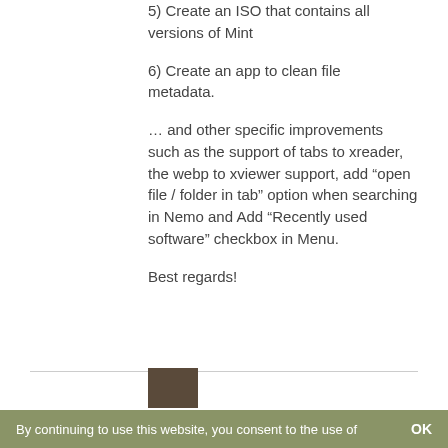5) Create an ISO that contains all versions of Mint
6) Create an app to clean file metadata.
… and other specific improvements such as the support of tabs to xreader, the webp to xviewer support, add “open file / folder in tab” option when searching in Nemo and Add “Recently used software” checkbox in Menu.
Best regards!
[Figure (photo): Avatar thumbnail of a person, partially visible at the bottom of the page]
By continuing to use this website, you consent to the use of   OK